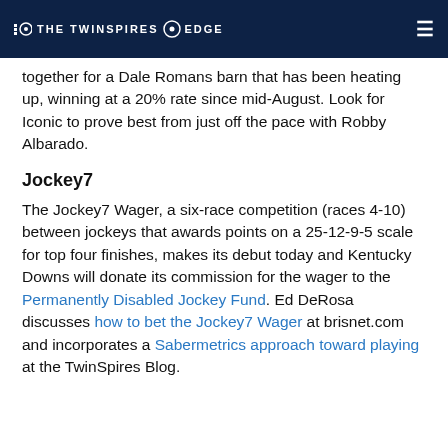THE TWINSPIRES EDGE
together for a Dale Romans barn that has been heating up, winning at a 20% rate since mid-August. Look for Iconic to prove best from just off the pace with Robby Albarado.
Jockey7
The Jockey7 Wager, a six-race competition (races 4-10) between jockeys that awards points on a 25-12-9-5 scale for top four finishes, makes its debut today and Kentucky Downs will donate its commission for the wager to the Permanently Disabled Jockey Fund. Ed DeRosa discusses how to bet the Jockey7 Wager at brisnet.com and incorporates a Sabermetrics approach toward playing at the TwinSpires Blog.